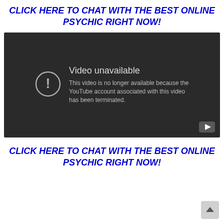CLICK HERE TO CHAT WITH THE BEST ONLINE PSYCHIC RIGHT NOW!
[Figure (screenshot): YouTube video player showing 'Video unavailable' error message: 'This video is no longer available because the YouTube account associated with this video has been terminated.' Dark background with circular exclamation icon and YouTube play button in corner.]
CLICK HERE TO CHAT WITH THE BEST ONLINE PSYCHIC RIGHT NOW!